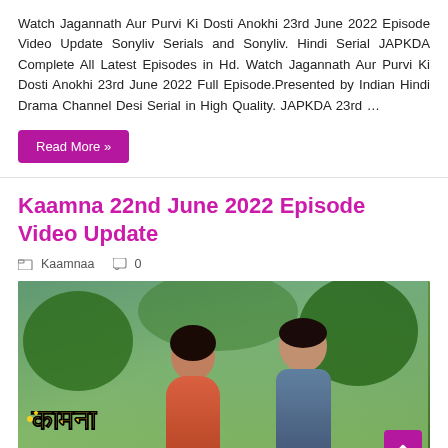Watch Jagannath Aur Purvi Ki Dosti Anokhi 23rd June 2022 Episode Video Update Sonyliv Serials and Sonyliv. Hindi Serial JAPKDA Complete All Latest Episodes in Hd. Watch Jagannath Aur Purvi Ki Dosti Anokhi 23rd June 2022 Full Episode.Presented by Indian Hindi Drama Channel Desi Serial in High Quality. JAPKDA 23rd …
Read More »
Kaamna 22nd June 2022 Episode Video Update
Kaamnaa   0
[Figure (photo): TV show thumbnail for Kaamna showing two actors (a woman and a man) with the Hindi title 'कामना' in golden text on a green background]